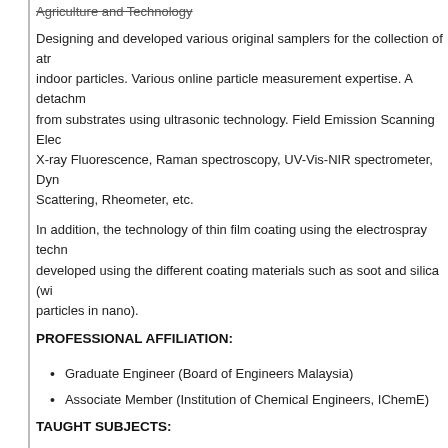Agriculture and Technology
Designing and developed various original samplers for the collection of atmospheric and indoor particles. Various online particle measurement expertise. A detachment of particles from substrates using ultrasonic technology. Field Emission Scanning Electron Microscopy, X-ray Fluorescence, Raman spectroscopy, UV-Vis-NIR spectrometer, Dynamic Light Scattering, Rheometer, etc.
In addition, the technology of thin film coating using the electrospray technology was developed using the different coating materials such as soot and silica (with particles in nano).
PROFESSIONAL AFFILIATION:
Graduate Engineer (Board of Engineers Malaysia)
Associate Member (Institution of Chemical Engineers, IChemE)
TAUGHT SUBJECTS:
Separation Process 1
Separation Process 2
Chemical Process Design
Chemical Process Engineering Laboratory
Ningen Ryoku: Professional Ethics, Safety and Health